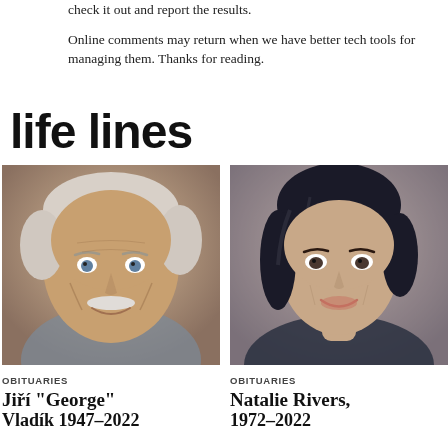check it out and report the results.
Online comments may return when we have better tech tools for managing them. Thanks for reading.
life lines
[Figure (photo): Portrait photo of an elderly man with white hair and white mustache, smiling]
OBITUARIES
Jiří "George"
Vladík 1947-2022
[Figure (photo): Portrait photo of a young woman with dark hair, smiling]
OBITUARIES
Natalie Rivers,
1972-2022